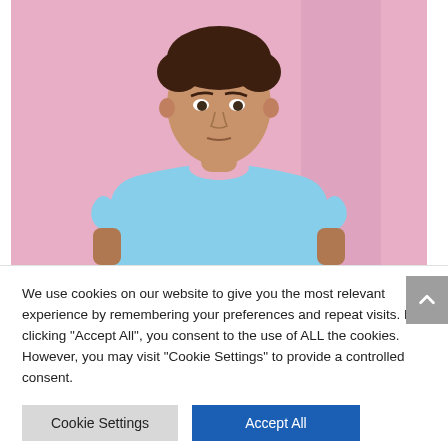[Figure (photo): A young man with curly brown hair wearing a light blue t-shirt, standing against a pink background]
We use cookies on our website to give you the most relevant experience by remembering your preferences and repeat visits. By clicking "Accept All", you consent to the use of ALL the cookies. However, you may visit "Cookie Settings" to provide a controlled consent.